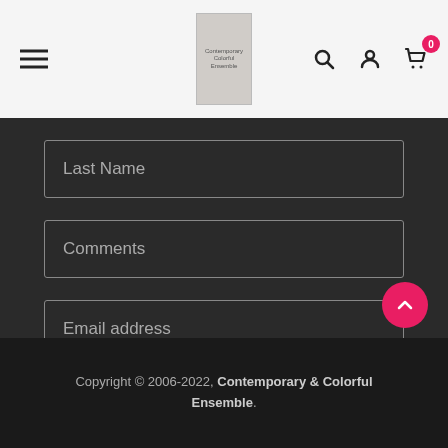Contemporary Colorful Ensemble - navigation header with logo, hamburger menu, search, account, and cart icons
Last Name
Comments
Email address
SUBSCRIBE
Copyright © 2006-2022, Contemporary & Colorful Ensemble.